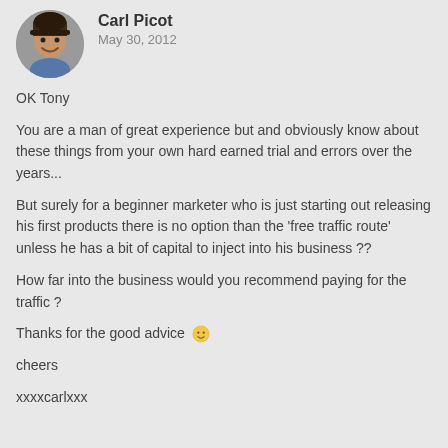Carl Picot
May 30, 2012
OK Tony
You are a man of great experience but and obviously know about these things from your own hard earned trial and errors over the years...
But surely for a beginner marketer who is just starting out releasing his first products there is no option than the 'free traffic route' unless he has a bit of capital to inject into his business ??
How far into the business would you recommend paying for the traffic ?
Thanks for the good advice 🙂
cheers
xxxxcarlxxx